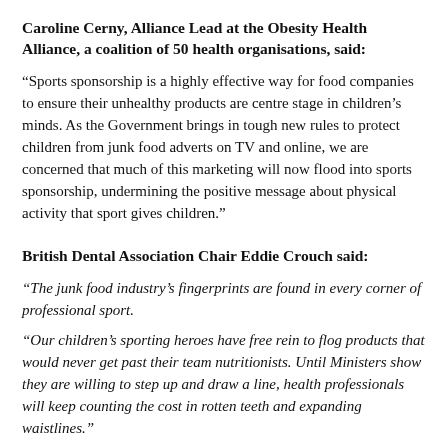Caroline Cerny, Alliance Lead at the Obesity Health Alliance, a coalition of 50 health organisations, said:
“Sports sponsorship is a highly effective way for food companies to ensure their unhealthy products are centre stage in children’s minds. As the Government brings in tough new rules to protect children from junk food adverts on TV and online, we are concerned that much of this marketing will now flood into sports sponsorship, undermining the positive message about physical activity that sport gives children.”
British Dental Association Chair Eddie Crouch said:
“The junk food industry’s fingerprints are found in every corner of professional sport.
“Our children’s sporting heroes have free rein to flog products that would never get past their team nutritionists. Until Ministers show they are willing to step up and draw a line, health professionals will keep counting the cost in rotten teeth and expanding waistlines.”